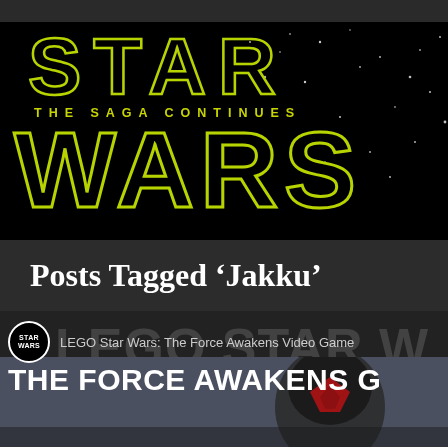[Figure (screenshot): Star Wars 'The Saga Continues' banner logo with yellow-green outlined lettering on black starfield background]
Posts Tagged ‘Jakku’
[Figure (screenshot): LEGO Star Wars: The Force Awakens Video Game article preview with Star Wars circular icon, article title 'THE FORCE AWAKENS G' (truncated), and a Stormtrooper/character helmet image]